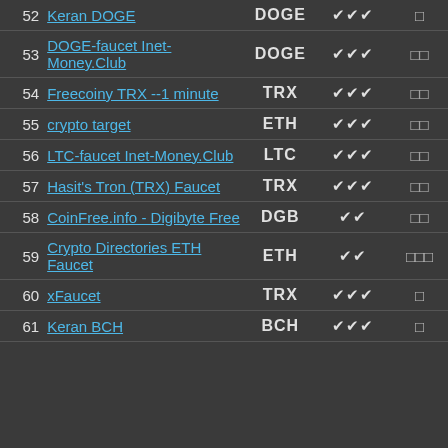| # | Name | Coin | Checks | Icons |
| --- | --- | --- | --- | --- |
| 52 | Keran DOGE | DOGE | ✔✔✔ | □ |
| 53 | DOGE-faucet Inet-Money.Club | DOGE | ✔✔✔ | □□ |
| 54 | Freecoiny TRX --1 minute | TRX | ✔✔✔ | □□ |
| 55 | crypto target | ETH | ✔✔✔ | □□ |
| 56 | LTC-faucet Inet-Money.Club | LTC | ✔✔✔ | □□ |
| 57 | Hasit's Tron (TRX) Faucet | TRX | ✔✔✔ | □□ |
| 58 | CoinFree.info - Digibyte Free | DGB | ✔✔ | □□ |
| 59 | Crypto Directories ETH Faucet | ETH | ✔✔ | □□□ |
| 60 | xFaucet | TRX | ✔✔✔ | □ |
| 61 | Keran BCH | BCH | ✔✔✔ | □ |